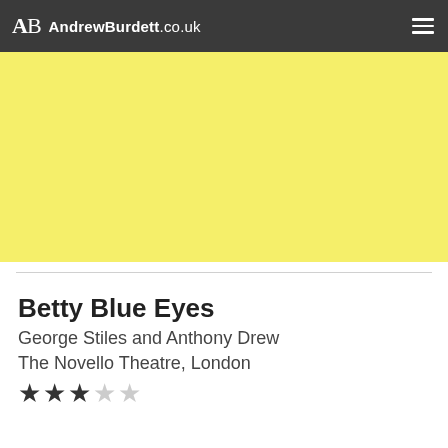AB AndrewBurdett.co.uk
[Figure (illustration): Yellow banner/hero image area with solid yellow background]
Betty Blue Eyes
George Stiles and Anthony Drew
The Novello Theatre, London
★★★☆☆